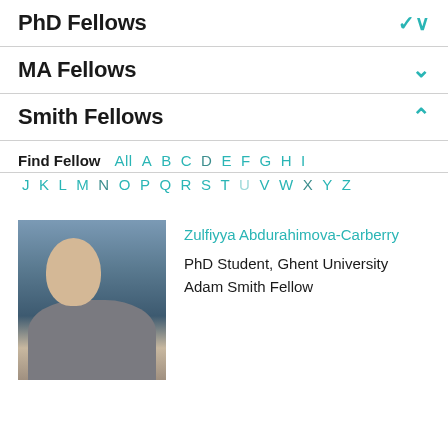PhD Fellows
MA Fellows
Smith Fellows
Find Fellow  All A B C D E F G H I J K L M N O P Q R S T U V W X Y Z
Zulfiyya Abdurahimova-Carberry
PhD Student, Ghent University
Adam Smith Fellow
[Figure (photo): Headshot of Zulfiyya Abdurahimova-Carberry, a woman with dark hair in front of a bookshelf, wearing a grey jacket.]